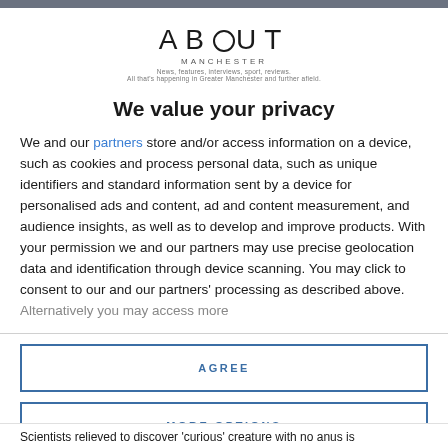ABOUT MANCHESTER
We value your privacy
We and our partners store and/or access information on a device, such as cookies and process personal data, such as unique identifiers and standard information sent by a device for personalised ads and content, ad and content measurement, and audience insights, as well as to develop and improve products. With your permission we and our partners may use precise geolocation data and identification through device scanning. You may click to consent to our and our partners' processing as described above. Alternatively you may access more
AGREE
MORE OPTIONS
Scientists relieved to discover 'curious' creature with no anus is